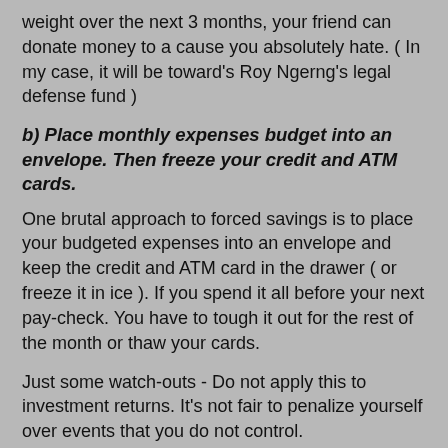weight over the next 3 months, your friend can donate money to a cause you absolutely hate. ( In my case, it will be toward's Roy Ngerng's legal defense fund )
b) Place monthly expenses budget into an envelope. Then freeze your credit and ATM cards.
One brutal approach to forced savings is to place your budgeted expenses into an envelope and keep the credit and ATM card in the drawer ( or freeze it in ice ). If you spend it all before your next pay-check. You have to tough it out for the rest of the month or thaw your cards.
Just some watch-outs - Do not apply this to investment returns. It's not fair to penalize yourself over events that you do not control.
Applying this principle to society in general, it means that governments need to create and maintain a career track for non-conscientious citizens. Traditionally this should be uniformed services where workers will have a stable structure to support them if they do not have the willpower to